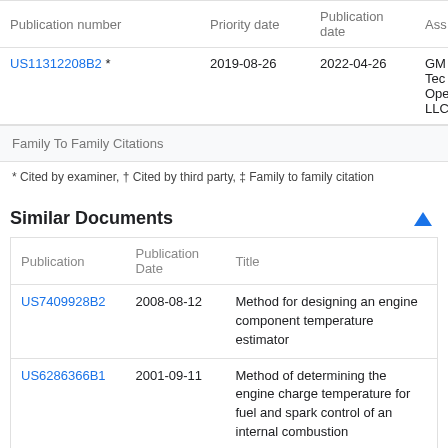| Publication number | Priority date | Publication date | Ass |
| --- | --- | --- | --- |
| US11312208B2 * | 2019-08-26 | 2022-04-26 | GM Tec Ope LLC |
| Family To Family Citations |
* Cited by examiner, † Cited by third party, ‡ Family to family citation
Similar Documents
| Publication | Publication Date | Title |
| --- | --- | --- |
| US7409928B2 | 2008-08-12 | Method for designing an engine component temperature estimator |
| US6286366B1 | 2001-09-11 | Method of determining the engine charge temperature for fuel and spark control of an internal combustion |